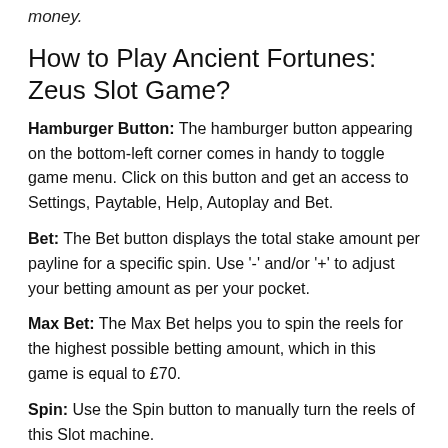money.
How to Play Ancient Fortunes: Zeus Slot Game?
Hamburger Button: The hamburger button appearing on the bottom-left corner comes in handy to toggle game menu. Click on this button and get an access to Settings, Paytable, Help, Autoplay and Bet.
Bet: The Bet button displays the total stake amount per payline for a specific spin. Use '-' and/or '+' to adjust your betting amount as per your pocket.
Max Bet: The Max Bet helps you to spin the reels for the highest possible betting amount, which in this game is equal to £70.
Spin: Use the Spin button to manually turn the reels of this Slot machine.